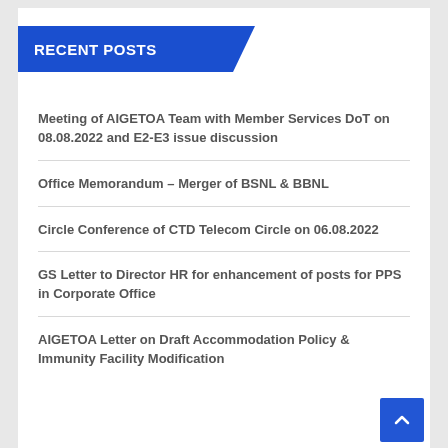RECENT POSTS
Meeting of AIGETOA Team with Member Services DoT on 08.08.2022 and E2-E3 issue discussion
Office Memorandum – Merger of BSNL & BBNL
Circle Conference of CTD Telecom Circle on 06.08.2022
GS Letter to Director HR for enhancement of posts for PPS in Corporate Office
AIGETOA Letter on Draft Accommodation Policy & Immunity Facility Modification